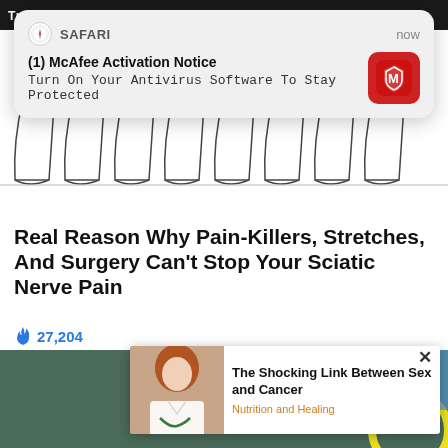[Figure (screenshot): Safari browser push notification popup: '(1) McAfee Activation Notice - Turn On Your Antivirus Software To Stay Protected' with McAfee red icon, overlaid on a webpage showing feet/heels medical illustration.]
Real Reason Why Pain-Killers, Stretches, And Surgery Can't Stop Your Sciatic Nerve Pain
🔥 27,204
[Figure (screenshot): Ad popup overlay on image: 'The Shocking Link Between Sex and Cancer' with a photo of a woman doctor and source label 'Nutrition and Healing']